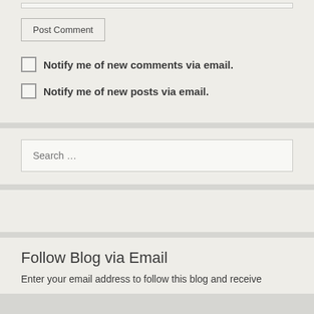Post Comment
Notify me of new comments via email.
Notify me of new posts via email.
Search …
Follow Blog via Email
Enter your email address to follow this blog and receive